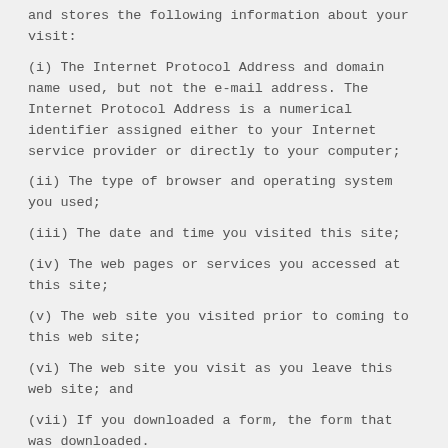and stores the following information about your visit:
(i) The Internet Protocol Address and domain name used, but not the e-mail address. The Internet Protocol Address is a numerical identifier assigned either to your Internet service provider or directly to your computer;
(ii) The type of browser and operating system you used;
(iii) The date and time you visited this site;
(iv) The web pages or services you accessed at this site;
(v) The web site you visited prior to coming to this web site;
(vi) The web site you visit as you leave this web site; and
(vii) If you downloaded a form, the form that was downloaded.
None of the foregoing information is deemed to constitute personal information.